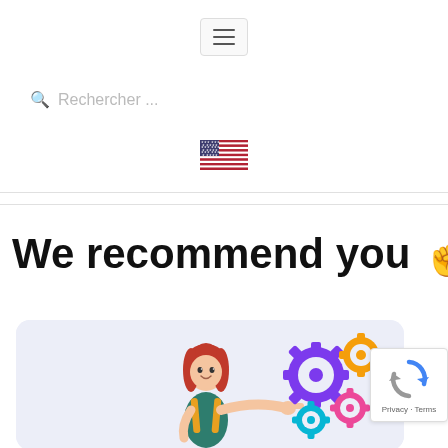[Figure (screenshot): Hamburger menu button (three horizontal lines) with a light gray border]
Rechercher ...
[Figure (illustration): US flag emoji]
We recommend you 👆
[Figure (illustration): 3D cartoon girl with red hair pointing at colorful gears (purple, gold, pink, cyan) on a light blue/purple rounded rectangle background. A reCAPTCHA badge overlaps the bottom right corner showing the reCAPTCHA logo and 'Privacy · Terms' text.]